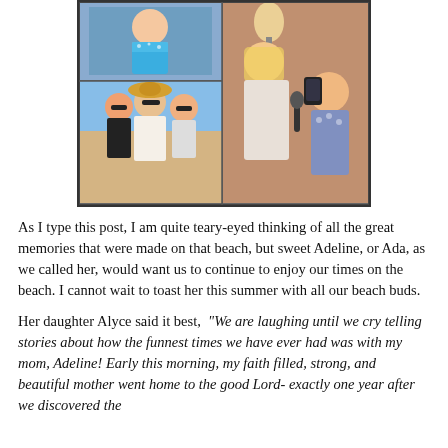[Figure (photo): Photo collage showing three images: top left shows a young girl in a colorful sequined tank top, bottom left shows three women together on a beach wearing sunglasses and hats, right side shows two women sharing a microphone indoors, one of whom appears to have no hair.]
As I type this post, I am quite teary-eyed thinking of all the great memories that were made on that beach, but sweet Adeline, or Ada, as we called her, would want us to continue to enjoy our times on the beach. I cannot wait to toast her this summer with all our beach buds.
Her daughter Alyce said it best, “We are laughing until we cry telling stories about how the funnest times we have ever had was with my mom, Adeline! Early this morning, my faith filled, strong, and beautiful mother went home to the good Lord- exactly one year after we discovered the